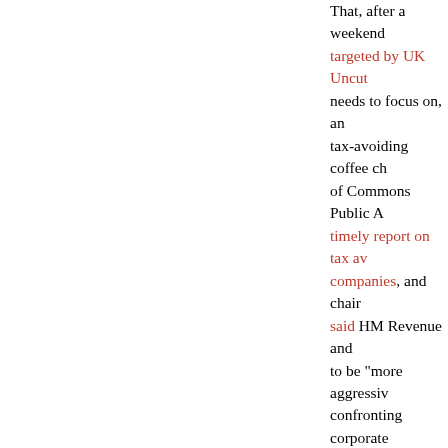That, after a weekend targeted by UK Uncut needs to focus on, an tax-avoiding coffee ch of Commons Public A timely report on tax av companies, and chair said HM Revenue and to be "more aggressiv confronting corporate Starbucks, who had s year, paid no corporat the BBC explained, S money to a Dutch sist payments, bought cof and paid high interest parts of the business. means the only crimin responsibilities to pay indicated that Google better. Amazon's UK s £3.35bn, but the comp